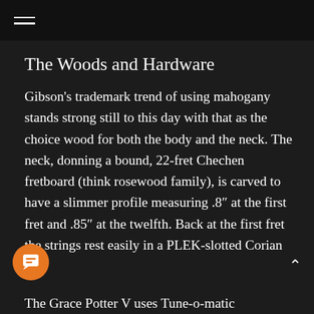≡
The Woods and Hardware
Gibson's trademark trend of using mahogany stands strong still to this day with that as the choice wood for both the body and the neck. The neck, donning a bound, 22-fret Chechen fretboard (think rosewood family), is carved to have a slimmer profile measuring .8″ at the first fret and .85″ at the twelfth. Back at the first fret the strings rest easily in a PLEK-slotted Corian nut.
The Grace Potter V uses Tune-o-matic